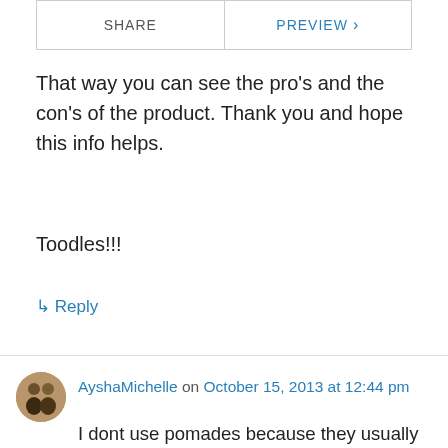[Figure (screenshot): SHARE | PREVIEW navigation bar buttons]
That way you can see the pro's and the con's of the product. Thank you and hope this info helps.

Toodles!!!
↳ Reply
AyshaMichelle on October 15, 2013 at 12:44 pm
I dont use pomades because they usually leave my hair very greasy to the point where I have to wash it out. My scalp is ALWAYS dry so i use pure coconut oil but I would like to try this product. Did it make your greasy kinda shiny or was it just about right? I know its knid of hard to answer but I do see that you said only a small